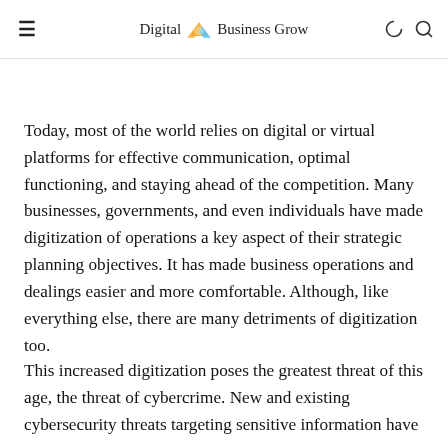Digital Business Grow
Today, most of the world relies on digital or virtual platforms for effective communication, optimal functioning, and staying ahead of the competition. Many businesses, governments, and even individuals have made digitization of operations a key aspect of their strategic planning objectives. It has made business operations and dealings easier and more comfortable. Although, like everything else, there are many detriments of digitization too.
This increased digitization poses the greatest threat of this age, the threat of cybercrime. New and existing cybersecurity threats targeting sensitive information have